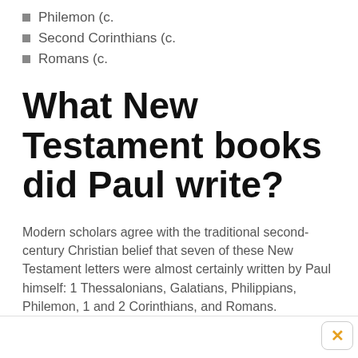Philemon (c.
Second Corinthians (c.
Romans (c.
What New Testament books did Paul write?
Modern scholars agree with the traditional second-century Christian belief that seven of these New Testament letters were almost certainly written by Paul himself: 1 Thessalonians, Galatians, Philippians, Philemon, 1 and 2 Corinthians, and Romans.